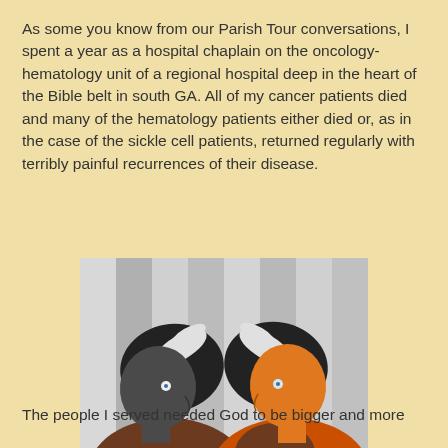As some you know from our Parish Tour conversations, I spent a year as a hospital chaplain on the oncology-hematology unit of a regional hospital deep in the heart of the Bible belt in south GA. All of my cancer patients died and many of the hematology patients either died or, as in the case of the sickle cell patients, returned regularly with terribly painful recurrences of their disease.
[Figure (illustration): Stylized illustration of two people facing each other in profile — one dark gray on the left wearing a brown garment, one orange on the right wearing an orange and brown garment — against a striped gray-and-white background.]
The people I served needed God to be bigger and more